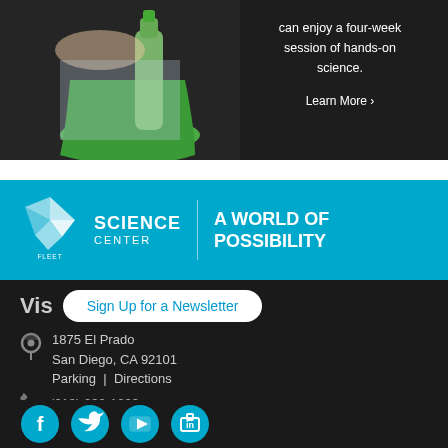[Figure (photo): Photo of a child doing hands-on science with a bottle and green bucket, with text overlay: 'can enjoy a four-week session of hands-on science. Learn More ›']
[Figure (logo): Fleet Science Center logo with geometric triangle icon and tagline 'A WORLD OF POSSIBILITY' on blue background]
Sign Up for a Newsletter
1875 El Prado
San Diego, CA 92101
Parking | Directions
(619) 238-1233
Español
Contact Us
[Figure (infographic): Social media icons row: Facebook, Twitter, YouTube, LinkedIn — all teal/cyan circles with white icons]